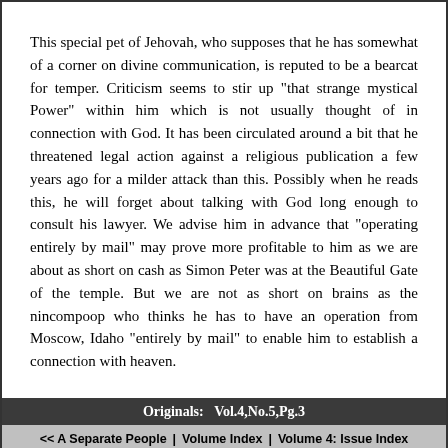This special pet of Jehovah, who supposes that he has somewhat of a corner on divine communication, is reputed to be a bearcat for temper. Criticism seems to stir up "that strange mystical Power" within him which is not usually thought of in connection with God. It has been circulated around a bit that he threatened legal action against a religious publication a few years ago for a milder attack than this. Possibly when he reads this, he will forget about talking with God long enough to consult his lawyer. We advise him in advance that "operating entirely by mail" may prove more profitable to him as we are about as short on cash as Simon Peter was at the Beautiful Gate of the temple. But we are not as short on brains as the nincompoop who thinks he has to have an operation from Moscow, Idaho "entirely by mail" to enable him to establish a connection with heaven.
Originals:   Vol.4,No.5,Pg.3
<< A Separate People  |  Volume Index  |  Volume 4: Issue Index  |  That Noble Symbol Of Unity >>